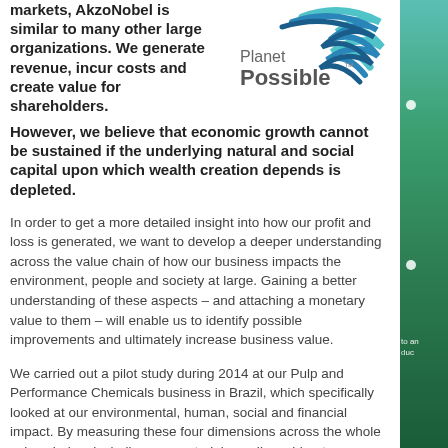markets, AkzoNobel is similar to many other large organizations. We generate revenue, incur costs and create value for shareholders.
[Figure (logo): Planet Possible™ logo with teal/blue swoosh graphic]
However, we believe that economic growth cannot be sustained if the underlying natural and social capital upon which wealth creation depends is depleted.
In order to get a more detailed insight into how our profit and loss is generated, we want to develop a deeper understanding across the value chain of how our business impacts the environment, people and society at large. Gaining a better understanding of these aspects – and attaching a monetary value to them – will enable us to identify possible improvements and ultimately increase business value.
We carried out a pilot study during 2014 at our Pulp and Performance Chemicals business in Brazil, which specifically looked at our environmental, human, social and financial impact. By measuring these four dimensions across the whole value chain – including raw materials, sodium chlorate production and the use of sodium chlorate in pulp production by our customers – as well as attaching an economic value to the positive and negative aspects of each, we were able to identify where we can improve. This new insight will enable us to make better business decisions by reducing the negatives and